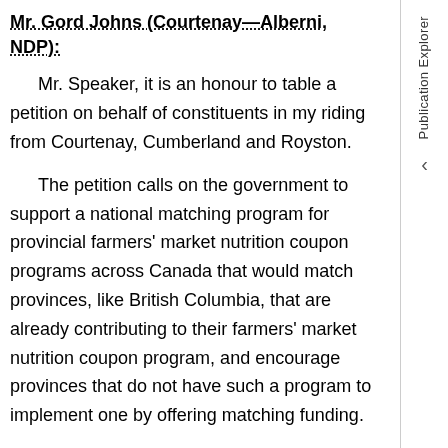Mr. Gord Johns (Courtenay—Alberni, NDP):
Mr. Speaker, it is an honour to table a petition on behalf of constituents in my riding from Courtenay, Cumberland and Royston.
The petition calls on the government to support a national matching program for provincial farmers' market nutrition coupon programs across Canada that would match provinces, like British Columbia, that are already contributing to their farmers' market nutrition coupon program, and encourage provinces that do not have such a program to implement one by offering matching funding.
The B.C. Association of Farmers' Markets, with 135 member markets, 4,000-plus vendors and its long-term partnership with the province, provides an excellent model